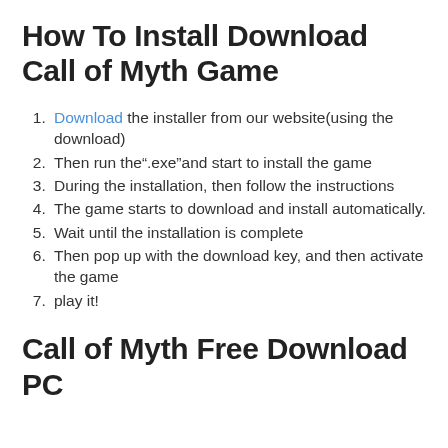How To Install Download Call of Myth Game
Download the installer from our website(using the download)
Then run the".exe"and start to install the game
During the installation, then follow the instructions
The game starts to download and install automatically.
Wait until the installation is complete
Then pop up with the download key, and then activate the game
play it!
Call of Myth Free Download PC